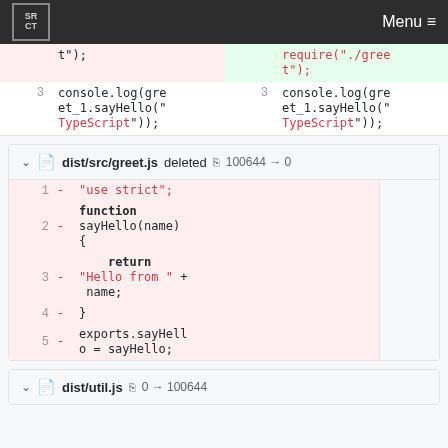SRCT Menu
| line_old | code_old | line_new | code_new |
| --- | --- | --- | --- |
|  | t"); |  | require("./greet"); |
| 3 | console.log(greet_1.sayHello("TypeScript")); | 3 | console.log(greet_1.sayHello("TypeScript")); |
dist/src/greet.js deleted 100644 → 0
| line | marker | code |
| --- | --- | --- |
| 1 | - | "use strict"; |
| 2 | - | function sayHello(name) { |
| 3 | - |     return "Hello from " + name; |
| 4 | - | } |
| 5 | - | exports.sayHello = sayHello; |
dist/util.js 0 → 100644